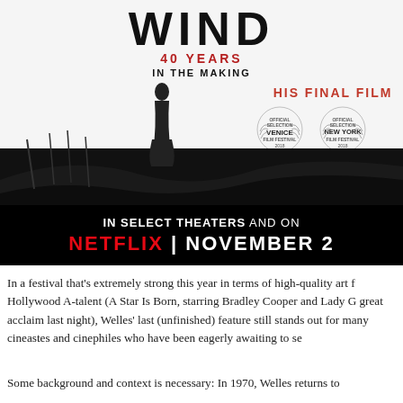[Figure (photo): Movie poster for 'The Other Side of the Wind' — 40 Years in the Making, His Final Film. Shows a dark cinematic landscape with a silhouette figure, festival laurels for Venice Film Festival 2018 and New York Film Festival 2018, text reading 'IN SELECT THEATERS AND ON NETFLIX | NOVEMBER 2'.]
In a festival that's extremely strong this year in terms of high-quality art f... Hollywood A-talent (A Star Is Born, starring Bradley Cooper and Lady G... great acclaim last night), Welles' last (unfinished) feature still stands out... for many cineastes and cinephiles who have been eagerly awaiting to se...
Some background and context is necessary: In 1970, Welles returns to...